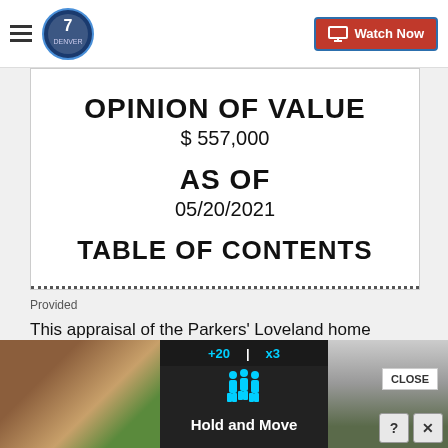[Figure (screenshot): Denver7 news website navigation bar with hamburger menu, Denver7 logo, and Watch Now button]
[Figure (photo): Photo of a real estate appraisal document cover page showing 'OPINION OF VALUE $557,000 AS OF 05/20/2021 TABLE OF CONTENTS']
Provided
This appraisal of the Parkers' Loveland home dated May 20, 2021, listed a value $92,000 higher than the initial appraisal
[Figure (screenshot): Bottom advertisement strip showing a Hold and Move app/game advertisement with blue icons and outdoor imagery]